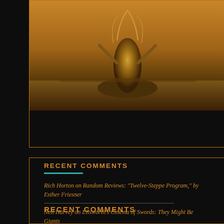[Figure (illustration): A painted illustration showing a figure in Native American headdress and regalia standing on a rock, with a desert/plains landscape in the background. The image has warm brown and golden tones.]
RECENT COMMENTS
Rich Horton on Random Reviews: “Twelve-Steppe Program,” by Esther Friesner
Neil Harvey on Ellsworth’s Cinema of Swords: They Might Be Giants